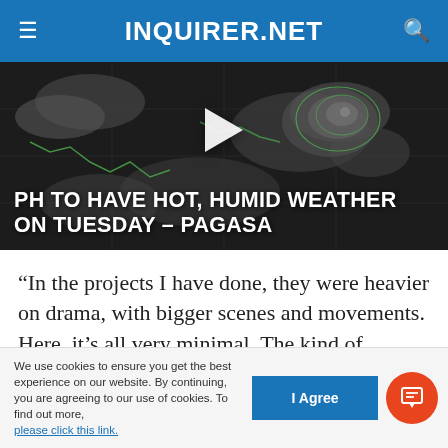INQUIRER.NET
[Figure (screenshot): Weather satellite map video thumbnail showing tropical weather system with text overlay 'PH TO HAVE HOT, HUMID WEATHER ON TUESDAY – PAGASA' and a play button in the center.]
“In the projects I have done, they were heavier on drama, with bigger scenes and movements. Here, it’s all very minimal. The kind of expressions or reactions they wanted were more restrained. They wanted snappier movements.” Andrea related
We use cookies to ensure you get the best experience on our website. By continuing, you are agreeing to our use of cookies. To find out more, please click this link.
I Agree